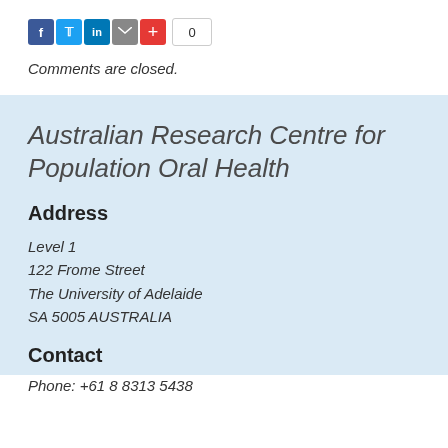[Figure (other): Social media sharing icons (Facebook, Twitter, LinkedIn, Email, Plus) with a share count of 0]
Comments are closed.
Australian Research Centre for Population Oral Health
Address
Level 1
122 Frome Street
The University of Adelaide
SA 5005 AUSTRALIA
Contact
Phone: +61 8 8313 5438